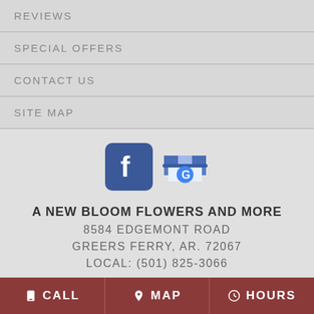REVIEWS
SPECIAL OFFERS
CONTACT US
SITE MAP
[Figure (logo): Facebook icon and Google My Business icon side by side]
A NEW BLOOM FLOWERS AND MORE
8584 EDGEMONT ROAD
GREERS FERRY, AR. 72067
LOCAL: (501) 825-3066
CALL   MAP   HOURS